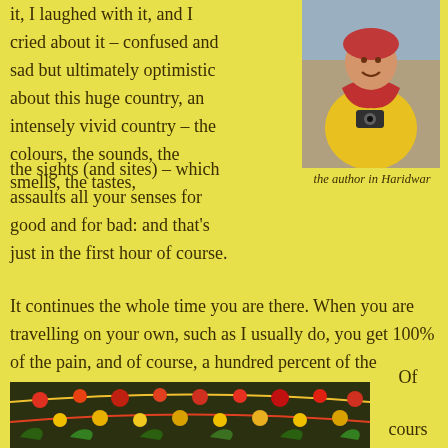it, I laughed with it, and I cried about it – confused and sad but ultimately optimistic about this huge country,  an intensely vivid country – the colours, the sounds, the smells, the tastes, the sights (and sites) – which assaults all your senses for good and for bad: and that's just in the first hour of course.
[Figure (photo): Author wearing yellow jacket and red scarf, holding a camera, standing outdoors in Haridwar]
the author in Haridwar
It continues the whole time you are there.  When you are travelling on your own, such as I usually do, you get 100% of the pain, and of course, a hundred percent of the pleasure.  What you don't get, is bored.
[Figure (photo): Floral garlands and flower arrangements, colorful reds, yellows and greens]
Of

cours